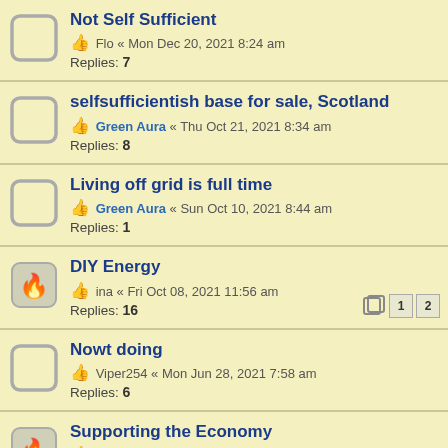Not Self Sufficient
👍 Flo « Mon Dec 20, 2021 8:24 am
Replies: 7
selfsufficientish base for sale, Scotland
👍 Green Aura « Thu Oct 21, 2021 8:34 am
Replies: 8
Living off grid is full time
👍 Green Aura « Sun Oct 10, 2021 8:44 am
Replies: 1
DIY Energy
👍 ina « Fri Oct 08, 2021 11:56 am
Replies: 16
Nowt doing
👍 Viper254 « Mon Jun 28, 2021 7:58 am
Replies: 6
Supporting the Economy
👍 Flo « Sat Mar 13, 2021 5:02 pm
Replies: 17
What is there to get rid of light fluff on black laundry?